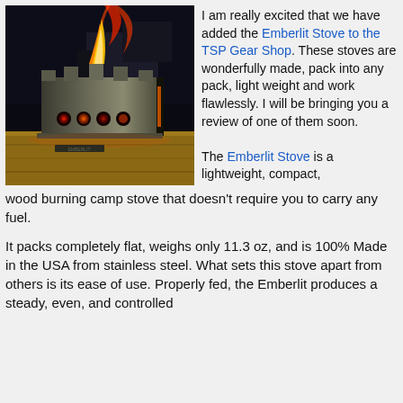[Figure (photo): Emberlit camp stove burning with flames visible at night, glowing holes on the sides, on a wooden surface with a truck in background]
I am really excited that we have added the Emberlit Stove to the TSP Gear Shop. These stoves are wonderfully made, pack into any pack, light weight and work flawlessly. I will be bringing you a review of one of them soon.
The Emberlit Stove is a lightweight, compact, wood burning camp stove that doesn't require you to carry any fuel.
It packs completely flat, weighs only 11.3 oz, and is 100% Made in the USA from stainless steel. What sets this stove apart from others is its ease of use. Properly fed, the Emberlit produces a steady, even, and controlled